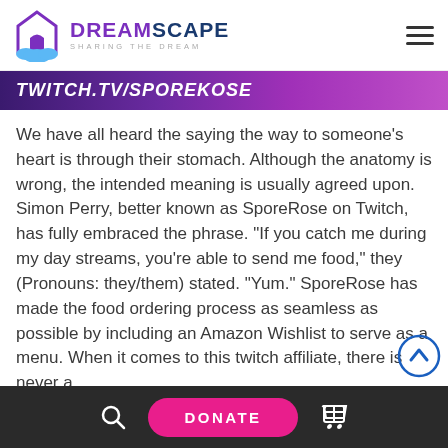DREAMSCAPE — SHARING THE DREAM
[Figure (screenshot): Twitch.tv/SporeRose banner image with purple/pink gradient background and bold white italic text reading TWITCH.TV/SPOREKOSE]
We have all heard the saying the way to someone's heart is through their stomach. Although the anatomy is wrong, the intended meaning is usually agreed upon. Simon Perry, better known as SporeRose on Twitch, has fully embraced the phrase. “If you catch me during my day streams, you’re able to send me food,” they (Pronouns: they/them) stated. “Yum.” SporeRose has made the food ordering process as seamless as possible by including an Amazon Wishlist to serve as a menu. When it comes to this twitch affiliate, there is never a
DONATE